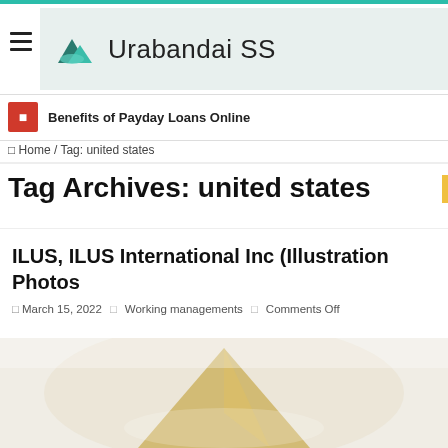Urabandai SS
Benefits of Payday Loans Online
Home / Tag: united states
Tag Archives: united states
ILUS, ILUS International Inc (Illustration Photos
March 15, 2022  Working managements  Comments Off
[Figure (photo): Partial view of an article image, blurred/cropped at bottom of page]